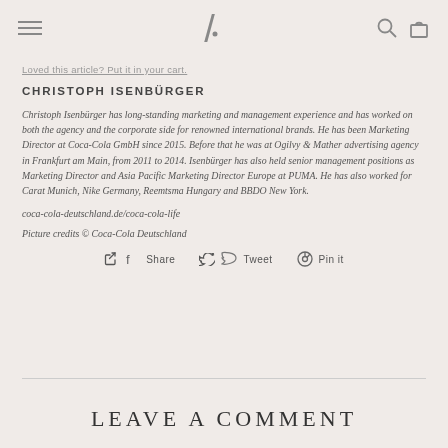≡  /  🔍  🛍
Loved this article? Put it in your cart.
CHRISTOPH ISENBÜRGER
Christoph Isenbürger has long-standing marketing and management experience and has worked on both the agency and the corporate side for renowned international brands. He has been Marketing Director at Coca-Cola GmbH since 2015. Before that he was at Ogilvy & Mather advertising agency in Frankfurt am Main, from 2011 to 2014. Isenbürger has also held senior management positions as Marketing Director and Asia Pacific Marketing Director Europe at PUMA. He has also worked for Carat Munich, Nike Germany, Reemtsma Hungary and BBDO New York.
coca-cola-deutschland.de/coca-cola-life
Picture credits © Coca-Cola Deutschland
Share  Tweet  Pin it
LEAVE A COMMENT